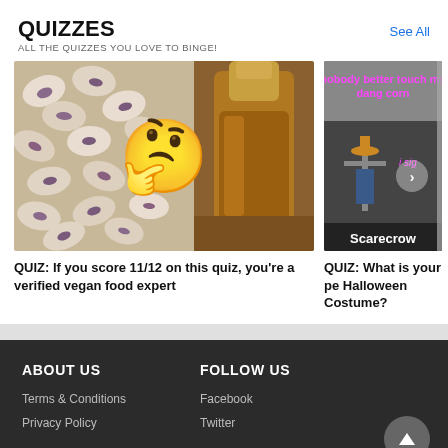QUIZZES
ALL THE QUIZZES YOU LOVE TO BINGE!
See All
[Figure (photo): Quiz card image: speckled beans on left, thinking face emoji center, amber maple syrup bottle on right]
QUIZ: If you score 11/12 on this quiz, you're a verified vegan food expert
[Figure (photo): Quiz card image: black and white photo of a scarecrow with meme text 'nobody better touch my dang corn' and 'Scarecrow' label at bottom]
QUIZ: What is your pe Halloween Costume?
ABOUT US
FOLLOW US
Terms & Conditions
Privacy Policy
Facebook
Twitter